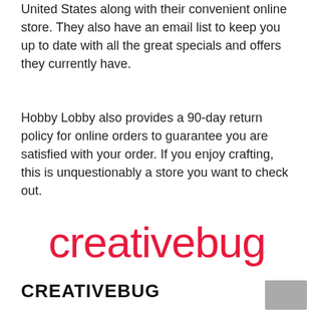United States along with their convenient online store. They also have an email list to keep you up to date with all the great specials and offers they currently have.
Hobby Lobby also provides a 90-day return policy for online orders to guarantee you are satisfied with your order. If you enjoy crafting, this is unquestionably a store you want to check out.
[Figure (logo): Creativebug logo in red lowercase script font]
CREATIVEBUG
[Figure (photo): Small grey thumbnail image in bottom right corner]